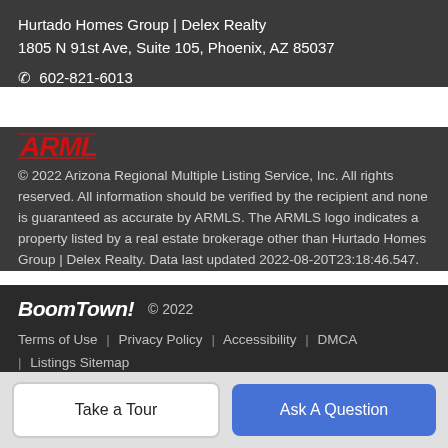Hurtado Homes Group | Delex Realty
1805 N 91st Ave, Suite 105, Phoenix, AZ 85037
☎ 602-821-6013
© 2022 Arizona Regional Multiple Listing Service, Inc. All rights reserved. All information should be verified by the recipient and none is guaranteed as accurate by ARMLS. The ARMLS logo indicates a property listed by a real estate brokerage other than Hurtado Homes Group | Delex Realty. Data last updated 2022-08-20T23:18:46.547.
[Figure (logo): ARMLS logo in red with bold stylized text]
BoomTown!  © 2022
Terms of Use  |  Privacy Policy  |  Accessibility  |  DMCA  |  Listings Sitemap
Take a Tour
Ask A Question